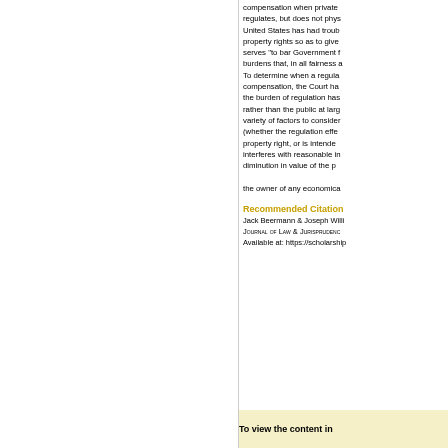compensation when private regulates, but does not phys United States has had troub property rights so as to give serves "to bar Government f burdens that, in all fairness a To determine when a regula compensation, the Court ha the burden of regulation has rather than the public at lar variety of factors to consider (whether the regulation effe property right, or is intende interferes with reasonable in diminution in value of the p the owner of any economica
Recommended Citation
Jack Beermann & Joseph Willi
Journal of Law & Jurisprudence
Available at: https://scholarship
To view the content in